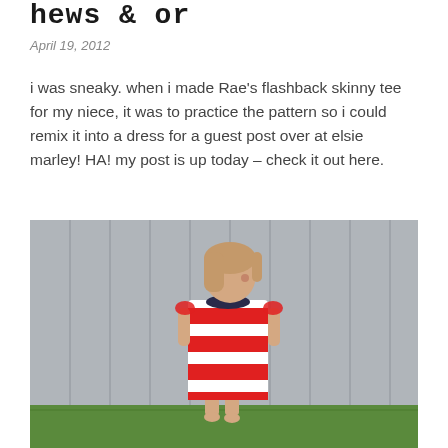hews & or
April 19, 2012
i was sneaky. when i made Rae’s flashback skinny tee for my niece, it was to practice the pattern so i could remix it into a dress for a guest post over at elsie marley! HA! my post is up today – check it out here.
[Figure (photo): A young girl wearing a red and white striped short-sleeve dress with a navy collar and ruffle sleeve details, standing barefoot in front of a grey vertical plank wall, on grass.]